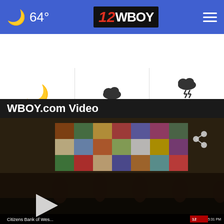64° | 12 WBOY
[Figure (infographic): Weather forecast strip with three panels: Clear (moon icon), Cloudy with Precip: 21% (cloud icon), PM Thunderstorms Precip: 38% (thunderstorm cloud icon)]
WBOY.com Video
[Figure (screenshot): Video thumbnail showing a bluegrass band performing on stage with a colorful quilt backdrop. Citizens Bank of West... watermark at bottom. A play button is visible at lower left, and a share icon at upper right.]